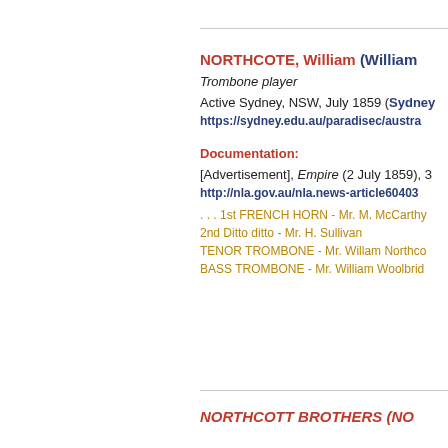NORTHCOTE, William (William
Trombone player
Active Sydney, NSW, July 1859 (Sydney
https://sydney.edu.au/paradisec/austra
Documentation:
[Advertisement], Empire (2 July 1859), 3
http://nla.gov.au/nla.news-article60403
. . . 1st FRENCH HORN - Mr. M. McCarthy
2nd Ditto ditto - Mr. H. Sullivan
TENOR TROMBONE - Mr. Willam Northco
BASS TROMBONE - Mr. William Woolbrid
NORTHCOTT BROTHERS (NO